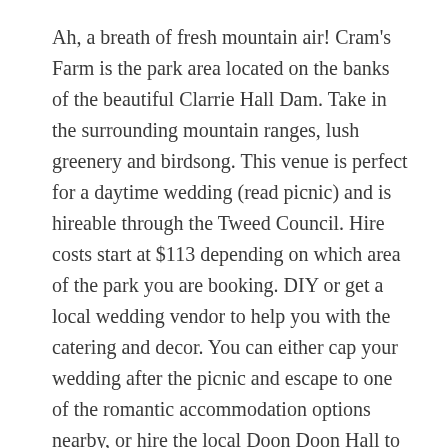Ah, a breath of fresh mountain air! Cram's Farm is the park area located on the banks of the beautiful Clarrie Hall Dam. Take in the surrounding mountain ranges, lush greenery and birdsong. This venue is perfect for a daytime wedding (read picnic) and is hireable through the Tweed Council. Hire costs start at $113 depending on which area of the park you are booking. DIY or get a local wedding vendor to help you with the catering and decor. You can either cap your wedding after the picnic and escape to one of the romantic accommodation options nearby, or hire the local Doon Doon Hall to party the night away.
Insider tip; bring a few kayaks/paddleboards for guests to explore the beautiful dam.